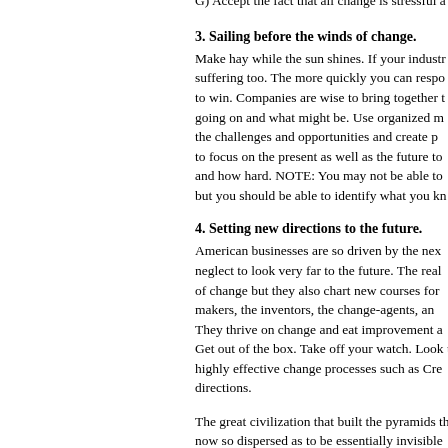G) Accept the fact that all change is stressful a
3. Sailing before the winds of change.
Make hay while the sun shines. If your industr suffering too. The more quickly you can respo to win. Companies are wise to bring together going on and what might be. Use organized m the challenges and opportunities and create p to focus on the present as well as the future t and how hard. NOTE: You may not be able to but you should be able to identify what you kn
4. Setting new directions to the future.
American businesses are so driven by the ne neglect to look very far to the future. The real of change but they also chart new courses for makers, the inventors, the change-agents, an They thrive on change and eat improvement a Get out of the box. Take off your watch. Look highly effective change processes such as Cr directions.
The great civilization that built the pyramids th now so dispersed as to be essentially invisible been lost. Our enterprises too will turn to dust